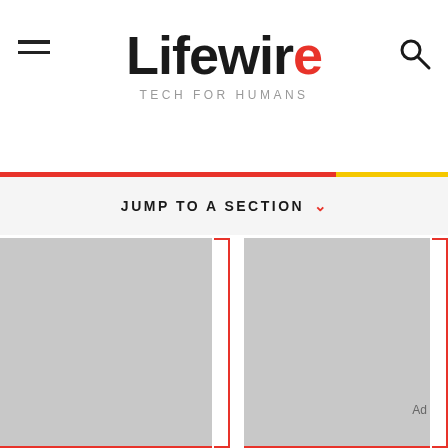Lifewire — TECH FOR HUMANS
JUMP TO A SECTION
[Figure (photo): Gray placeholder image card on left]
[Figure (photo): Gray placeholder image card on right with Ad label]